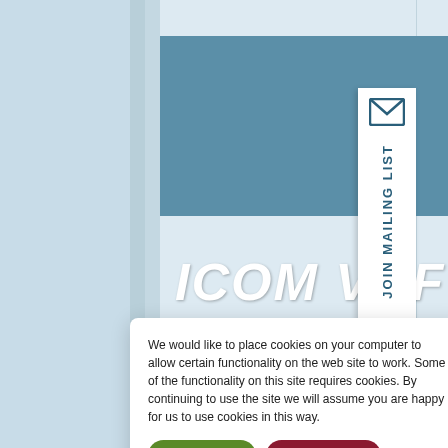[Figure (screenshot): Website screenshot showing ICOM VHF IC-M (product page) with a teal header bar, partially visible large white italic bold title text 'ICOM VHF IC-M' and a 'JOIN MAILING LIST' tab on the right side with an envelope icon. Background is light blue-gray. A bottom section shows a gray content panel with partial text about IC-M marine base station.]
We would like to place cookies on your computer to allow certain functionality on the web site to work. Some of the functionality on this site requires cookies. By continuing to use the site we will assume you are happy for us to use cookies in this way.
Yes, I agree
Tell me more